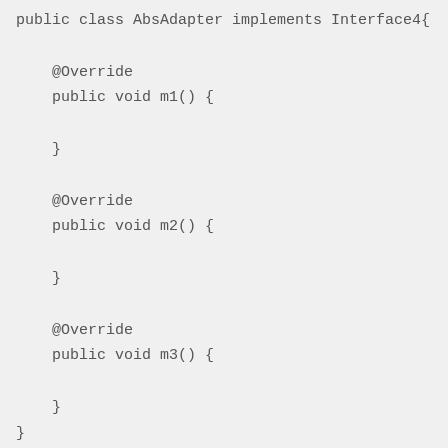public class AbsAdapter implements Interface4{

    @Override
    public void m1() {

    }

    @Override
    public void m2() {

    }

    @Override
    public void m3() {

    }
}
test
public class AdapterClient {
    public static void main(String[] args) {